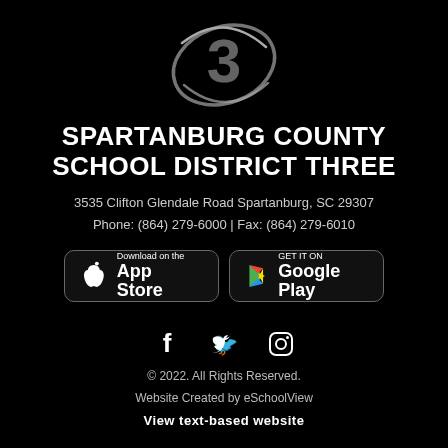[Figure (logo): Spartanburg County School District Three logo — stylized number 3 in dark gray with orbital swoosh on black background]
SPARTANBURG COUNTY SCHOOL DISTRICT THREE
3535 Clifton Glendale Road Spartanburg, SC 29307
Phone: (864) 279-6000 | Fax: (864) 279-6010
[Figure (infographic): App store download buttons: Download on the App Store and Get it on Google Play]
[Figure (infographic): Social media icons: Facebook, Twitter, Instagram]
© 2022. All Rights Reserved.
Website Created by eSchoolView
View text-based website